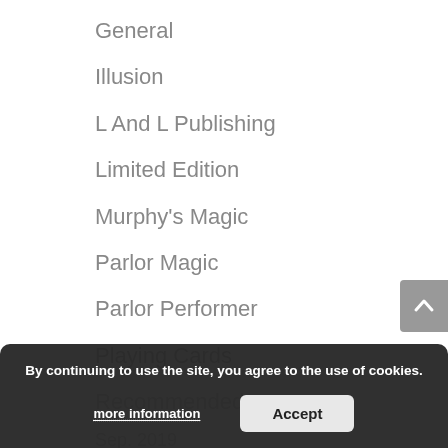General
Illusion
L And L Publishing
Limited Edition
Murphy's Magic
Parlor Magic
Parlor Performer
Playing Cards
Recommended
Sep. 2019
Stage Magic
Street Magic
By continuing to use the site, you agree to the use of cookies.
more information
Accept